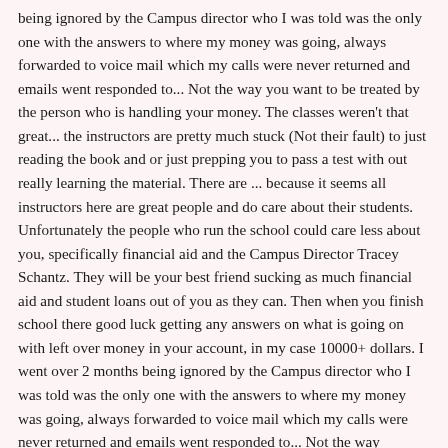being ignored by the Campus director who I was told was the only one with the answers to where my money was going, always forwarded to voice mail which my calls were never returned and emails went responded to... Not the way you want to be treated by the person who is handling your money. The classes weren't that great... the instructors are pretty much stuck (Not their fault) to just reading the book and or just prepping you to pass a test with out really learning the material. There are ... because it seems all instructors here are great people and do care about their students. Unfortunately the people who run the school could care less about you, specifically financial aid and the Campus Director Tracey Schantz. They will be your best friend sucking as much financial aid and student loans out of you as they can. Then when you finish school there good luck getting any answers on what is going on with left over money in your account, in my case 10000+ dollars. I went over 2 months being ignored by the Campus director who I was told was the only one with the answers to where my money was going, always forwarded to voice mail which my calls were never returned and emails went responded to... Not the way